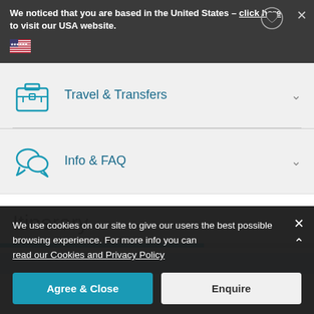We noticed that you are based in the United States - click here to visit our USA website.
Travel & Transfers
Info & FAQ
Itinerary
We use cookies on our site to give our users the best possible browsing experience. For more info you can read our Cookies and Privacy Policy
Agree & Close
Enquire